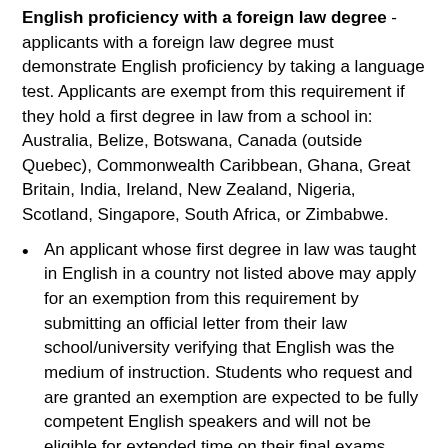English proficiency with a foreign law degree - applicants with a foreign law degree must demonstrate English proficiency by taking a language test. Applicants are exempt from this requirement if they hold a first degree in law from a school in: Australia, Belize, Botswana, Canada (outside Quebec), Commonwealth Caribbean, Ghana, Great Britain, India, Ireland, New Zealand, Nigeria, Scotland, Singapore, South Africa, or Zimbabwe.
An applicant whose first degree in law was taught in English in a country not listed above may apply for an exemption from this requirement by submitting an official letter from their law school/university verifying that English was the medium of instruction. Students who request and are granted an exemption are expected to be fully competent English speakers and will not be eligible for extended time on their final exams.